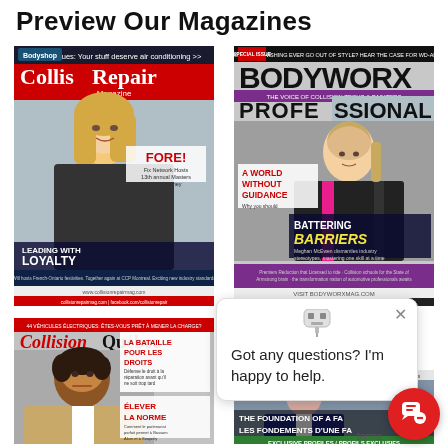Preview Our Magazines
[Figure (photo): Collision Repair Magazine cover featuring a blonde woman, text 'LEADING WITH LOYALTY', 'FORE!' and other headlines]
[Figure (photo): BODYWORX Professional magazine cover featuring a woman in racing suit, 'BATTERING BARRIERS', 'A WORLD WITHOUT GUIDANCE']
[Figure (photo): Collision Québec magazine cover featuring a man, 'LA BATAILLE POUR LES DROITS', 'ÉLEVER LA NORME']
[Figure (photo): Foundation/Fondation magazine cover showing 'THE FOUNDATION OF A FA...', 'LES FONDEMENTS D'UNE FA...', 'EXCLUSIVE PROFILES / PROFILS EXCLUSIFS']
Got any questions? I'm happy to help.